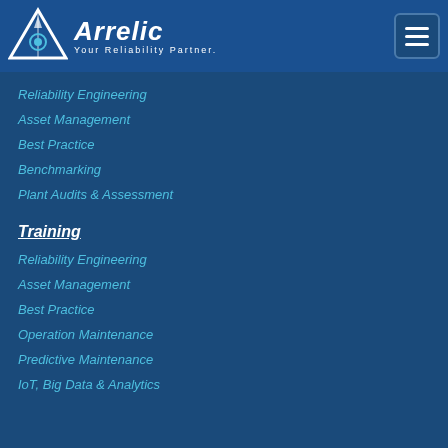[Figure (logo): Arrelic logo with triangle/arrow icon and text 'Arrelic - Your Reliability Partner.']
Reliability Engineering
Asset Management
Best Practice
Benchmarking
Plant Audits & Assessment
Training
Reliability Engineering
Asset Management
Best Practice
Operation Maintenance
Predictive Maintenance
IoT, Big Data & Analytics